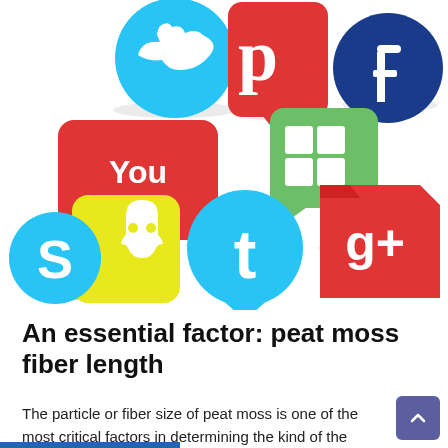[Figure (illustration): Collection of social media icons including Twitter, Pinterest, Facebook, YouTube, Windows, Google+, Snapchat, a Twitter-style bird, and Skype logos arranged in a cluster]
An essential factor: peat moss fiber length
The particle or fiber size of peat moss is one of the most critical factors in determining the kind of the developing medium and the